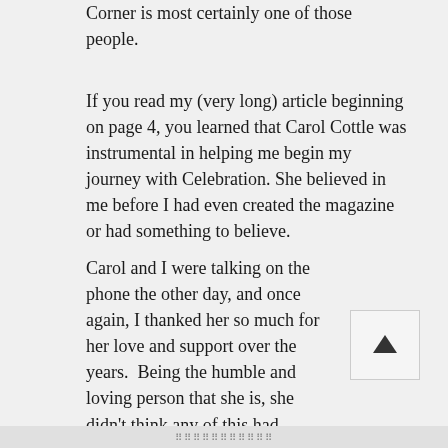Corner is most certainly one of those people.
If you read my (very long) article beginning on page 4, you learned that Carol Cottle was instrumental in helping me begin my journey with Celebration. She believed in me before I had even created the magazine or had something to believe.
Carol and I were talking on the phone the other day, and once again, I thanked her so much for her love and support over the years.  Being the humble and loving person that she is, she didn't think any of this had anything to do with her.  That's Carol. One of the kindest and giving people I have eve